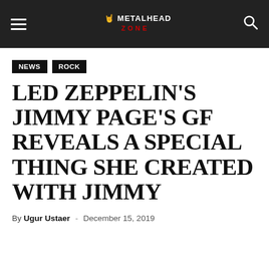METALHEAD ZONE
NEWS
ROCK
LED ZEPPELIN'S JIMMY PAGE'S GF REVEALS A SPECIAL THING SHE CREATED WITH JIMMY
By Ugur Ustaer - December 15, 2019